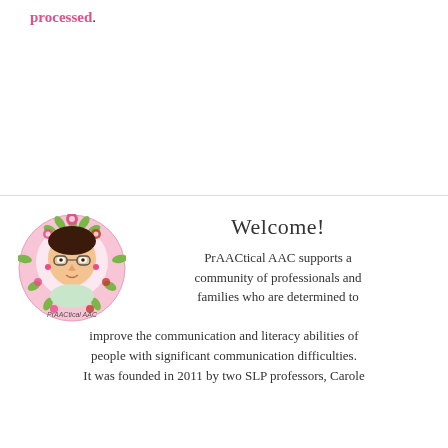processed.
[Figure (illustration): Circular logo for PrAACtical AAC showing a woman with glasses surrounded by a floral wreath with text 'PrAACtical AAC' at the bottom]
Welcome!
PrAACtical AAC supports a community of professionals and families who are determined to improve the communication and literacy abilities of people with significant communication difficulties. It was founded in 2011 by two SLP professors, Carole